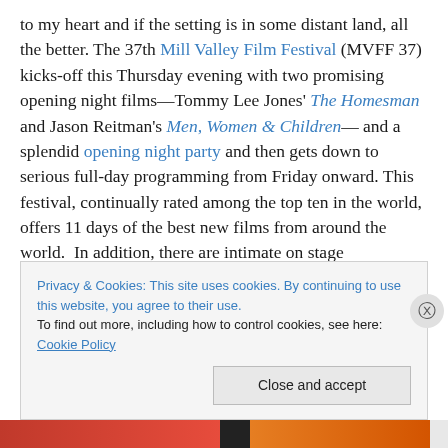to my heart and if the setting is in some distant land, all the better. The 37th Mill Valley Film Festival (MVFF 37) kicks-off this Thursday evening with two promising opening night films—Tommy Lee Jones' The Homesman and Jason Reitman's Men, Women & Children— and a splendid opening night party and then gets down to serious full-day programming from Friday onward. This festival, continually rated among the top ten in the world, offers 11 days of the best new films from around the world.  In addition, there are intimate on stage conversations with directors and stars.  This year,
Privacy & Cookies: This site uses cookies. By continuing to use this website, you agree to their use.
To find out more, including how to control cookies, see here: Cookie Policy